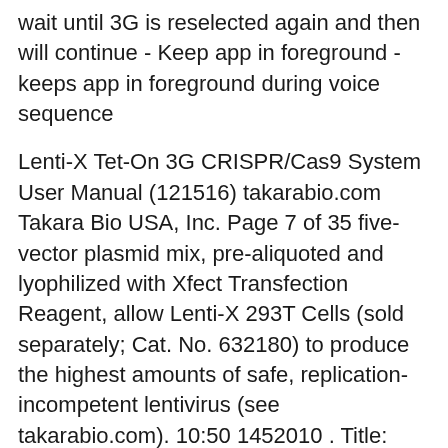wait until 3G is reselected again and then will continue - Keep app in foreground - keeps app in foreground during voice sequence
Lenti-X Tet-On 3G CRISPR/Cas9 System User Manual (121516) takarabio.com Takara Bio USA, Inc. Page 7 of 35 five-vector plasmid mix, pre-aliquoted and lyophilized with Xfect Transfection Reagent, allow Lenti-X 293T Cells (sold separately; Cat. No. 632180) to produce the highest amounts of safe, replication-incompetent lentivirus (see takarabio.com). 10:50 1452010 . Title: 30377_VOX S502F 3G_manual Created Date: 4/19/2016 4:45:20 PM